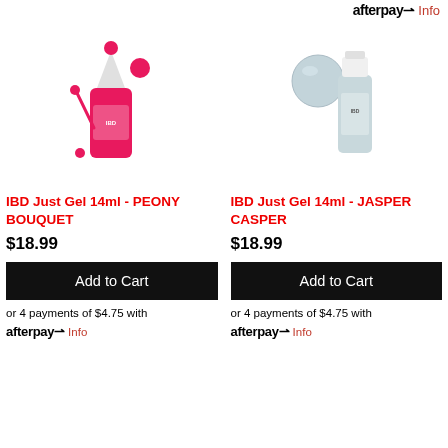afterpay Info
[Figure (photo): IBD Just Gel nail polish bottle in pink/hot pink with pink cap and brush, PEONY BOUQUET color]
IBD Just Gel 14ml - PEONY BOUQUET
$18.99
Add to Cart
or 4 payments of $4.75 with afterpay Info
[Figure (photo): IBD Just Gel nail polish bottle in light blue/grey with matching color swatch, JASPER CASPER color]
IBD Just Gel 14ml - JASPER CASPER
$18.99
Add to Cart
or 4 payments of $4.75 with afterpay Info